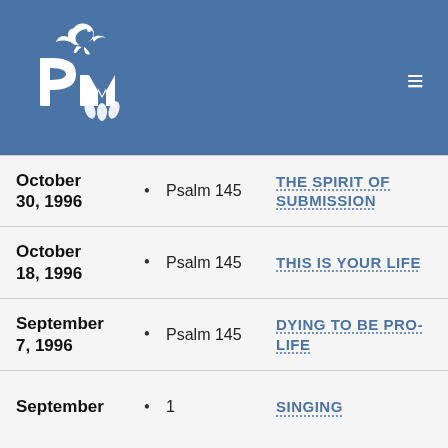PM logo
October 30, 1996 • Psalm 145 THE SPIRIT OF SUBMISSION
October 18, 1996 • Psalm 145 THIS IS YOUR LIFE
September 7, 1996 • Psalm 145 DYING TO BE PRO-LIFE
September • 1 SINGING